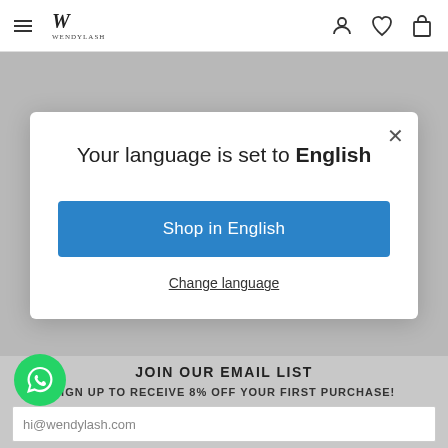[Figure (screenshot): Website navigation bar with hamburger menu, Wendylash logo, and icons for user account, wishlist, and shopping bag]
Your language is set to English
Shop in English
Change language
JOIN OUR EMAIL LIST
SIGN UP TO RECEIVE 8% OFF YOUR FIRST PURCHASE!
hi@wendylash.com